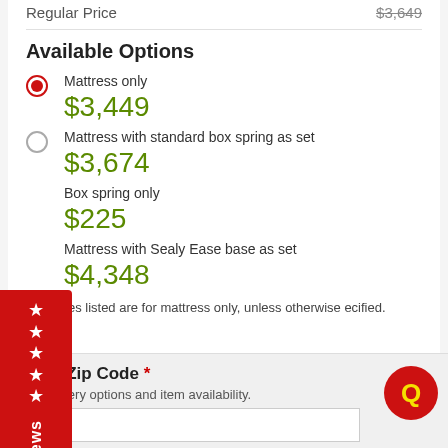Regular Price  $3,649
Available Options
Mattress only  $3,449
Mattress with standard box spring as set  $3,674
Box spring only  $225
Mattress with Sealy Ease base as set  $4,348
Sale prices listed are for mattress only, unless otherwise specified.
Enter Zip Code * For delivery options and item availability.